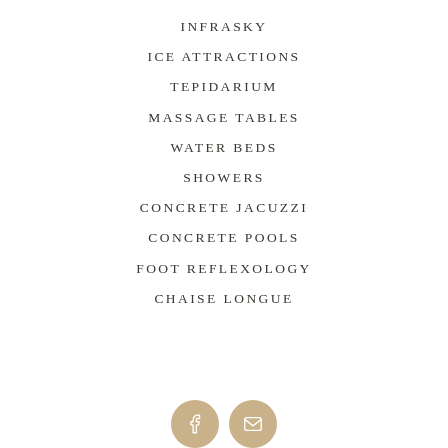INFRASKY
ICE ATTRACTIONS
TEPIDARIUM
MASSAGE TABLES
WATER BEDS
SHOWERS
CONCRETE JACUZZI
CONCRETE POOLS
FOOT REFLEXOLOGY
CHAISE LONGUE
[Figure (illustration): Two circular social media icons (Facebook and email/message) in tan/gold color, partially visible at the bottom of the page]